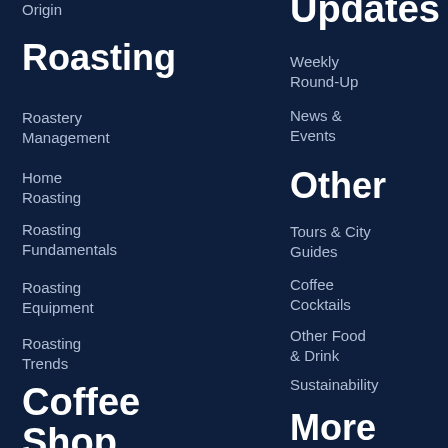Origin
Roasting
Roastery Management
Home Roasting
Roasting Fundamentals
Roasting Equipment
Roasting Trends
Coffee Shop
Barista
Café Management
Updates
Weekly Round-Up
News & Events
Other
Tours & City Guides
Coffee Cocktails
Other Food & Drink
Sustainability
More
Jobs Board
Coffee Events